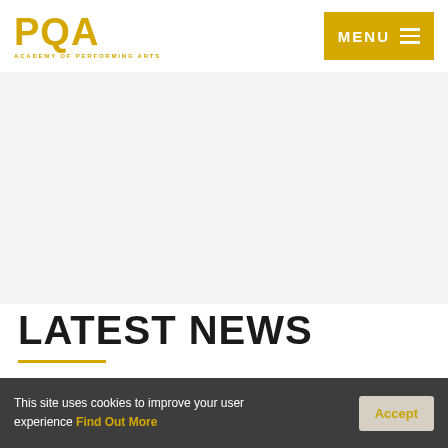PQA ACADEMY OF PERFORMING ARTS | MENU
[Figure (photo): Large white/light grey hero image area below the header navigation]
LATEST NEWS
This site uses cookies to improve your user experience Find Out More